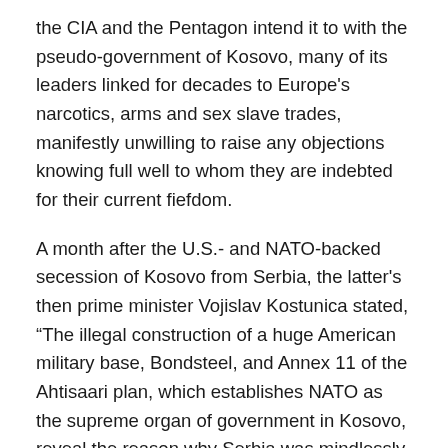the CIA and the Pentagon intend it to with the pseudo-government of Kosovo, many of its leaders linked for decades to Europe's narcotics, arms and sex slave trades, manifestly unwilling to raise any objections knowing full well to whom they are indebted for their current fiefdom.
A month after the U.S.- and NATO-backed secession of Kosovo from Serbia, the latter's then prime minister Vojislav Kostunica stated, “The illegal construction of a huge American military base, Bondsteel, and Annex 11 of the Ahtisaari plan, which establishes NATO as the supreme organ of government in Kosovo, reveal the reason why Serbia was mindlessly destroyed, and why a NATO state was declared illegally on February 17.” [4]
During its fiftieth anniversary jubilee summit in Washington, D.C. in April of 1999 NATO was in the midst